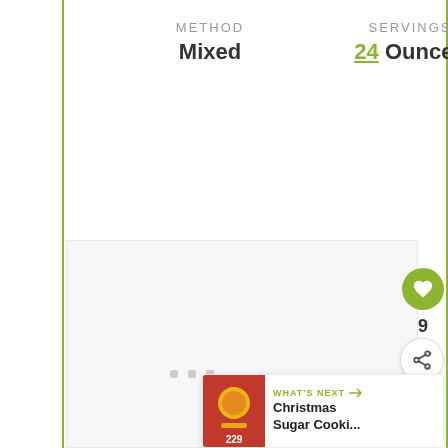METHOD
Mixed
SERVINGS
24 Ounces
[Figure (photo): Placeholder image area (white/light gray rectangle with three small gray square dots at center bottom)]
[Figure (illustration): Green circular heart/like button, count '9' below, and share icon button below that]
WHAT'S NEXT → Christmas Sugar Cooki...